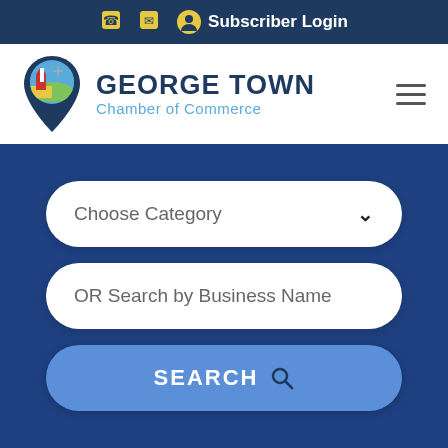📞 ✉ 👤 Subscriber Login
[Figure (logo): George Town Chamber of Commerce logo with map pin icon containing lighthouse and landscape imagery]
GEORGE TOWN Chamber of Commerce
Choose Category
OR Search by Business Name
SEARCH